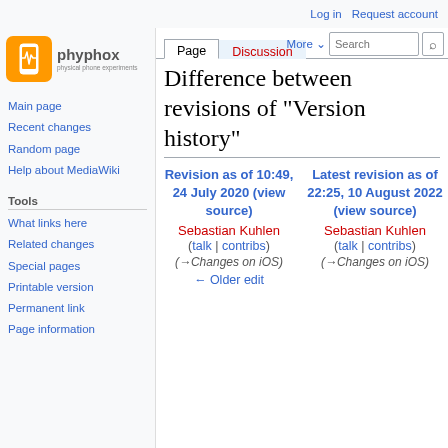Log in | Request account
[Figure (logo): phyphox logo - orange square with phone/wave icon, text 'phyphox' and 'physical phone experiments']
Main page
Recent changes
Random page
Help about MediaWiki
Tools
What links here
Related changes
Special pages
Printable version
Permanent link
Page information
Difference between revisions of "Version history"
Revision as of 10:49, 24 July 2020 (view source)
Sebastian Kuhlen (talk | contribs)
(→Changes on iOS)
← Older edit
Latest revision as of 22:25, 10 August 2022 (view source)
Sebastian Kuhlen (talk | contribs)
(→Changes on iOS)